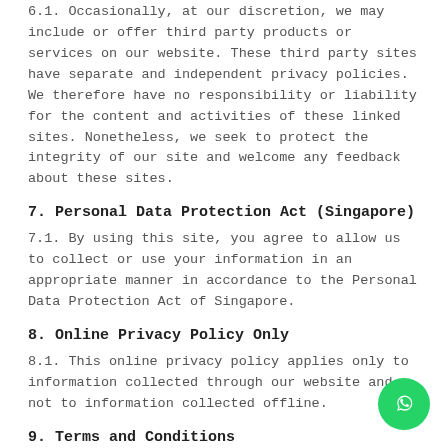6.1. Occasionally, at our discretion, we may include or offer third party products or services on our website. These third party sites have separate and independent privacy policies. We therefore have no responsibility or liability for the content and activities of these linked sites. Nonetheless, we seek to protect the integrity of our site and welcome any feedback about these sites.
7. Personal Data Protection Act (Singapore)
7.1. By using this site, you agree to allow us to collect or use your information in an appropriate manner in accordance to the Personal Data Protection Act of Singapore.
8. Online Privacy Policy Only
8.1. This online privacy policy applies only to information collected through our website and not to information collected offline.
9. Terms and Conditions
9.1. Please also visit our Terms and Conditions section